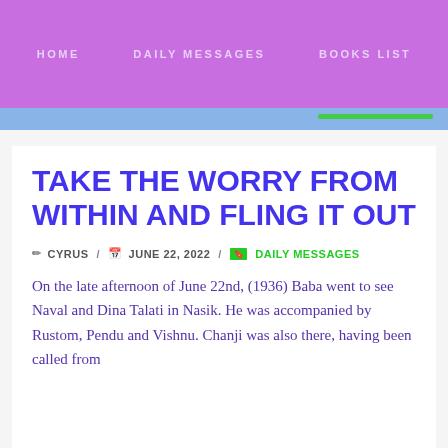HOME   DAILY MESSAGES   BOOKS LIST
TAKE THE WORRY FROM WITHIN AND FLING IT OUT
✏ CYRUS  /  📅 JUNE 22, 2022  /  🔖 DAILY MESSAGES
On the late afternoon of June 22nd, (1936) Baba went to see Naval and Dina Talati in Nasik. He was accompanied by Rustom, Pendu and Vishnu. Chanji was also there, having been called from